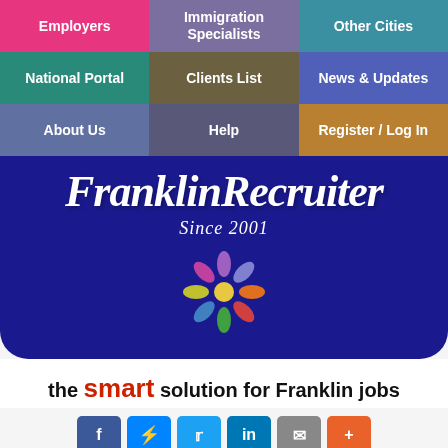[Figure (screenshot): Navigation grid with 9 colored cells: Employers (pink), Immigration Specialists (purple), Other Cities (teal-blue), National Portal (teal), Clients List (olive), News & Updates (blue), About Us (slate-blue), Help (slate), Register / Log In (gold)]
[Figure (logo): FranklinRecruiter logo on dark navy background with italic script font, 'Since 2001' subtitle, and colorful figure icon]
the smart solution for Franklin jobs
[Figure (infographic): Social share buttons: Facebook, Messenger, Twitter, LinkedIn, Email, More (+)]